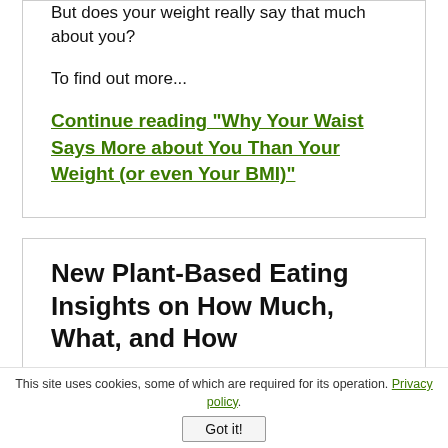But does your weight really say that much about you?
To find out more...
Continue reading "Why Your Waist Says More about You Than Your Weight (or even Your BMI)"
New Plant-Based Eating Insights on How Much, What, and How
There has
[Figure (photo): Dark/black image block partially visible]
This site uses cookies, some of which are required for its operation. Privacy policy. Got it!